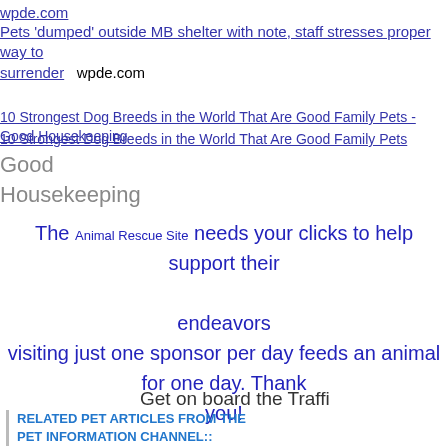wpde.com
Pets 'dumped' outside MB shelter with note, staff stresses proper way to surrender   wpde.com
10 Strongest Dog Breeds in the World That Are Good Family Pets - Good Housekeeping
10 Strongest Dog Breeds in the World That Are Good Family Pets   Good Housekeeping
The Animal Rescue Site needs your clicks to help support their endeavors visiting just one sponsor per day feeds an animal for one day. Thank you!
Get on board the Traffi
RELATED PET ARTICLES FROM THE PET INFORMATION CHANNEL::